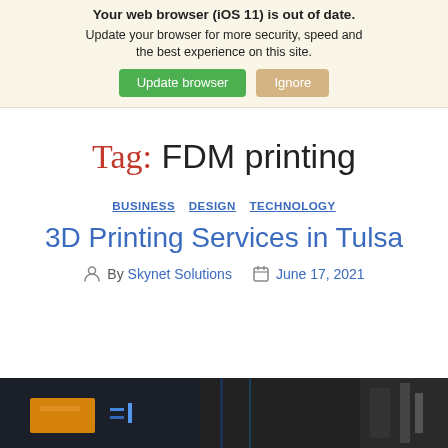Your web browser (iOS 11) is out of date. Update your browser for more security, speed and the best experience on this site. Update browser | Ignore
Tag: FDM printing
BUSINESS  DESIGN  TECHNOLOGY
3D Printing Services in Tulsa
By Skynet Solutions  June 17, 2021
[Figure (photo): Dark photo showing 3D printing equipment with orange and blue electronic components]